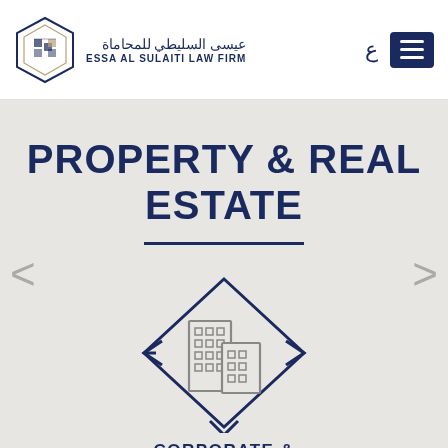[Figure (logo): Essa Al Sulaiti Law Firm diamond-pattern logo in dark navy blue with Arabic and English text]
PROPERTY & REAL ESTATE
[Figure (illustration): Diamond/chevron shaped icon with two buildings/real estate icons inside, dark navy and grey outline style]
CORPORATE & COMMERCIAL